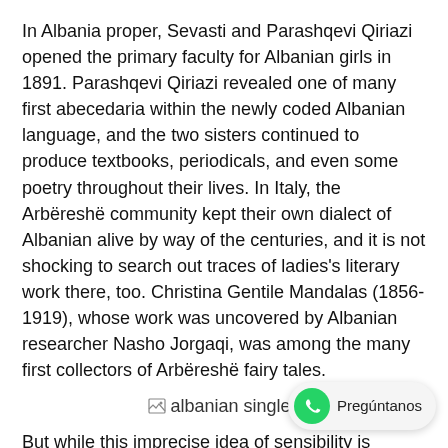In Albania proper, Sevasti and Parashqevi Qiriazi opened the primary faculty for Albanian girls in 1891. Parashqevi Qiriazi revealed one of many first abecedaria within the newly coded Albanian language, and the two sisters continued to produce textbooks, periodicals, and even some poetry throughout their lives. In Italy, the Arbëreshë community kept their own dialect of Albanian alive by way of the centuries, and it is not shocking to search out traces of ladies's literary work there, too. Christina Gentile Mandalas (1856-1919), whose work was uncovered by Albanian researcher Nasho Jorgaqi, was among the many first collectors of Arbëreshë fairy tales.
[Figure (other): Broken image placeholder labeled 'albanian singles']
But while this imprecise idea of sensibility is bogus, it's true that the non-public experiences of various groups of persons are completely different and it's this distinction is curious that may discover its way onto the web page. And we need